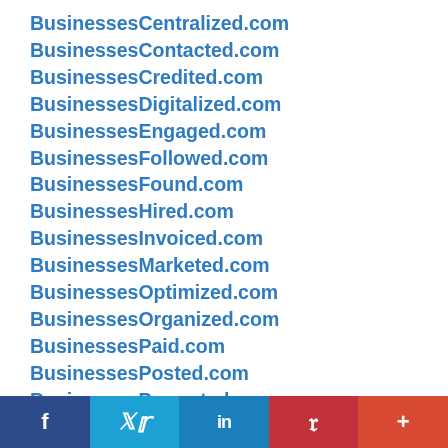BusinessesCentralized.com
BusinessesContacted.com
BusinessesCredited.com
BusinessesDigitalized.com
BusinessesEngaged.com
BusinessesFollowed.com
BusinessesFound.com
BusinessesHired.com
BusinessesInvoiced.com
BusinessesMarketed.com
BusinessesOptimized.com
BusinessesOrganized.com
BusinessesPaid.com
BusinessesPosted.com
BusinessesPromoted.com
BusinessesReviewed.com
BusinessesScheduled.com
BusinessesServiced.com
[Figure (infographic): Social sharing bar with Facebook, Twitter, LinkedIn, Pinterest, and More (+) buttons]